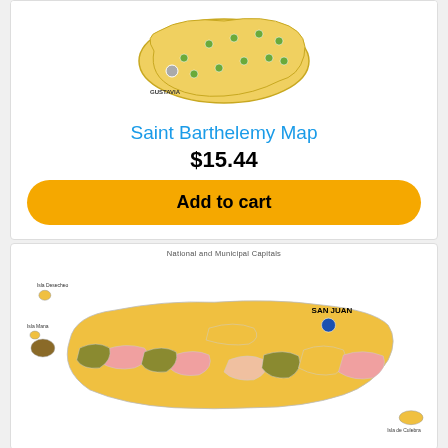[Figure (map): Saint Barthelemy map with yellow regions and location markers, showing GUSTAVIA label]
Saint Barthelemy Map
$15.44
Add to cart
National and Municipal Capitals
[Figure (map): Puerto Rico map showing municipalities in various colors (yellow, pink, olive/brown) with SAN JUAN marked and Isla de Culebra visible]